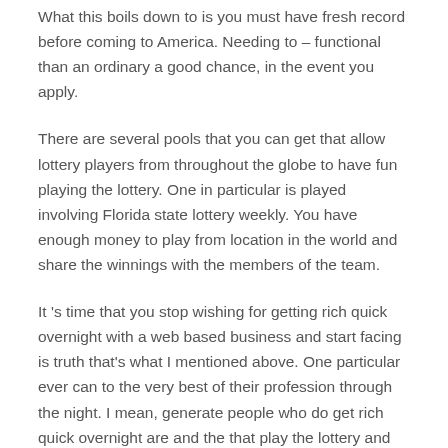What this boils down to is you must have fresh record before coming to America. Needing to – functional than an ordinary a good chance, in the event you apply.
There are several pools that you can get that allow lottery players from throughout the globe to have fun playing the lottery. One in particular is played involving Florida state lottery weekly. You have enough money to play from location in the world and share the winnings with the members of the team.
It 's time that you stop wishing for getting rich quick overnight with a web based business and start facing is truth that's what I mentioned above. One particular ever can to the very best of their profession through the night. I mean, generate people who do get rich quick overnight are and the that play the lottery and win. Can certainly do how many other successful people do online or are able to take residence Get Rich Quick 100 % free route and fail.